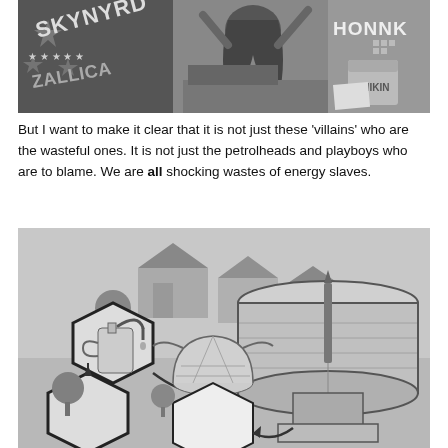[Figure (illustration): Black and white comic-style illustration showing a person with long hair at a desk, with rock band references (SKYNYRD, ZALLICA) and text 'HONNK', a bucket labeled 'CHIKIN', and various items on the desk.]
But I want to make it clear that it is not just these 'villains' who are the wasteful ones. It is not just the petrolheads and playboys who are to blame. We are all shocking wastes of energy slaves.
[Figure (illustration): Black and white isometric illustration showing a suburban neighborhood with houses, trees, and various energy/utility infrastructure including a large cylindrical tank, a kettle with water tap, a geodesic dome, and hexagonal diagram elements connected by arrows, suggesting energy flow and waste.]